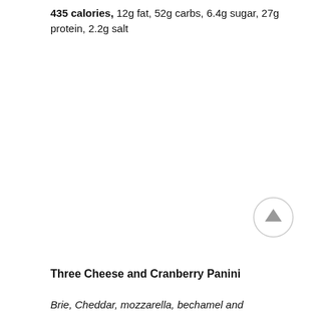435 calories, 12g fat, 52g carbs, 6.4g sugar, 27g protein, 2.2g salt
[Figure (other): A circular scroll-to-top button with an upward arrow icon, light grey border and grey arrow]
Three Cheese and Cranberry Panini
Brie, Cheddar, mozzarella, bechamel and